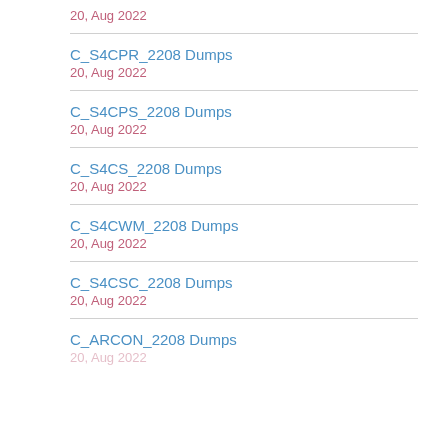20, Aug 2022
C_S4CPR_2208 Dumps
20, Aug 2022
C_S4CPS_2208 Dumps
20, Aug 2022
C_S4CS_2208 Dumps
20, Aug 2022
C_S4CWM_2208 Dumps
20, Aug 2022
C_S4CSC_2208 Dumps
20, Aug 2022
C_ARCON_2208 Dumps
20, Aug 2022